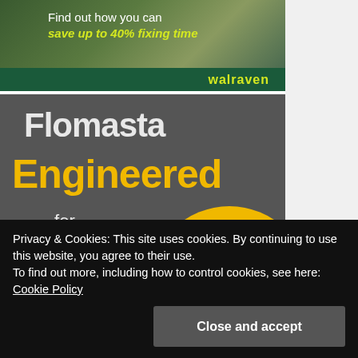[Figure (illustration): Walraven advertisement banner showing a worker in background with text 'Find out how you can save up to 40% fixing time' and 'walraven' branding on green bar]
[Figure (illustration): Flomasta advertisement banner on dark grey background showing 'Flomasta Engineered for the trade' text in white and yellow, with a 15-year guarantee badge, yellow circle and radiator product image]
Privacy & Cookies: This site uses cookies. By continuing to use this website, you agree to their use.
To find out more, including how to control cookies, see here: Cookie Policy
Close and accept